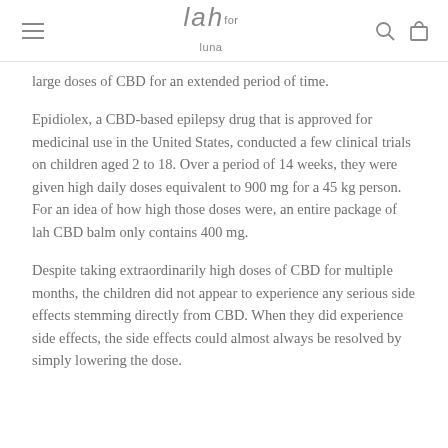lah for luna
large doses of CBD for an extended period of time.
Epidiolex, a CBD-based epilepsy drug that is approved for medicinal use in the United States, conducted a few clinical trials on children aged 2 to 18. Over a period of 14 weeks, they were given high daily doses equivalent to 900 mg for a 45 kg person. For an idea of how high those doses were, an entire package of lah CBD balm only contains 400 mg.
Despite taking extraordinarily high doses of CBD for multiple months, the children did not appear to experience any serious side effects stemming directly from CBD. When they did experience side effects, the side effects could almost always be resolved by simply lowering the dose.